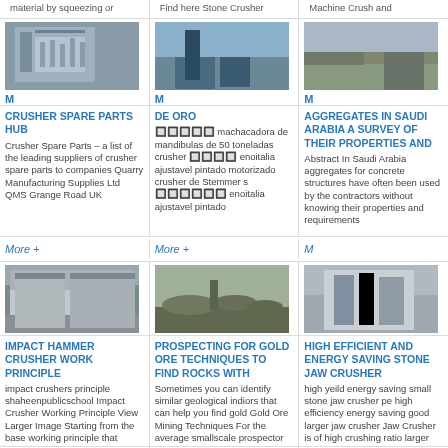material by squeezing or
Find here Stone Crusher
Machine Crush and
[Figure (photo): Industrial crusher/factory building structure]
[Figure (photo): Stone crusher machine outdoors]
[Figure (photo): Quarry/aggregate site]
CRUSHER SPARE PARTS HUB
Crusher Spare Parts – a list of the leading suppliers of crusher spare parts to companies Quarry Manufacturing Supplies Ltd QMS Grange Road UK
DE ORO
machacadora de mandibulas de 50 toneladas crusher enoitalia ajustavel pintado motorizado crusher de Stemmer s enoitalia ajustavel pintado
AGGREGATES IN SAUDI ARABIA A SURVEY OF THEIR PROPERTIES AND
Abstract In Saudi Arabia aggregates for concrete structures have often been used by the contractors without knowing their properties and requirements
More +
More +
[Figure (photo): Large industrial building/warehouse]
[Figure (photo): Open mine/quarry site]
[Figure (photo): Stone jaw crusher machine]
IMPACT HAMMER CRUSHER WORK PRINCIPLE
impact crushers principle shaheenpublicschool Impact Crusher Working Principle View Larger Image Starting from the base working principle that compression is the
PROSPECTING FOR GOLD ORE TECHNIQUES TO FIND ROCKS WITH
Sometimes you can identify similar geological indiors that can help you find gold Gold Ore Mining Techniques For the average smallscale prospector there are just a
HIGH EFFICIENT AND ENERGY SAVING STONE JAW CRUSHER
high yeild energy saving small stone jaw crusher pe high efficiency energy saving good larger jaw crusher Jaw Crusher is of high crushing ratio larger capacity well distributed
More +
[Figure (photo): Bottom row image 1]
[Figure (photo): Bottom row image 2]